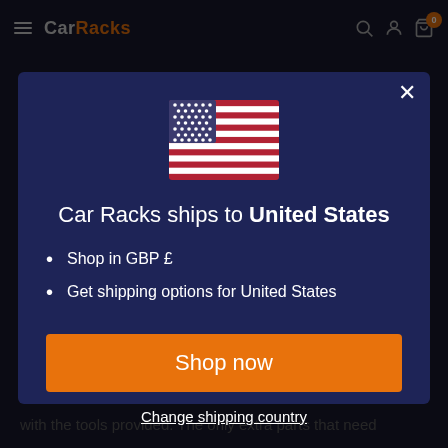CarRacks
[Figure (screenshot): US flag emoji/icon displayed in the center of the modal]
Car Racks ships to United States
Shop in GBP £
Get shipping options for United States
Shop now
Change shipping country
with the tools provided. The only extra parts that need